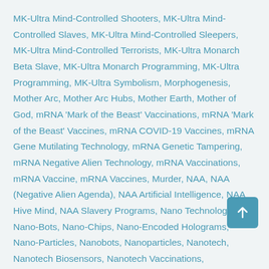MK-Ultra Mind-Controlled Shooters, MK-Ultra Mind-Controlled Slaves, MK-Ultra Mind-Controlled Sleepers, MK-Ultra Mind-Controlled Terrorists, MK-Ultra Monarch Beta Slave, MK-Ultra Monarch Programming, MK-Ultra Programming, MK-Ultra Symbolism, Morphogenesis, Mother Arc, Mother Arc Hubs, Mother Earth, Mother of God, mRNA 'Mark of the Beast' Vaccinations, mRNA 'Mark of the Beast' Vaccines, mRNA COVID-19 Vaccines, mRNA Gene Mutilating Technology, mRNA Genetic Tampering, mRNA Negative Alien Technology, mRNA Vaccinations, mRNA Vaccine, mRNA Vaccines, Murder, NAA, NAA (Negative Alien Agenda), NAA Artificial Intelligence, NAA Hive Mind, NAA Slavery Programs, Nano Technology, Nano-Bots, Nano-Chips, Nano-Encoded Holograms, Nano-Particles, Nanobots, Nanoparticles, Nanotech, Nanotech Biosensors, Nanotech Vaccinations, Nanotechnology, Narratives, Natural Light, Negative Alien Agenda, Negative Behaviors, Neurology, New Age, New Age Agenda, New Age Bliss, New Age Community, New Age Deception, New Age Disinformation, New Age Dogma, New Age Hijack, New Age